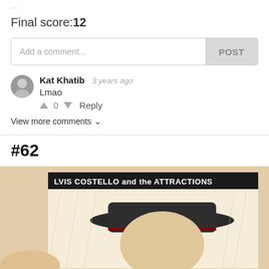...
Final score:12
Add a comment... POST
Kat Khatib  3 years ago
Lmao
↑ 0 ↓  Reply
View more comments ∨
#62
[Figure (photo): Person holding an Elvis Costello and the Attractions vinyl record album in front of a bookshelf filled with books. The album cover shows a figure wearing a wide-brimmed hat.]